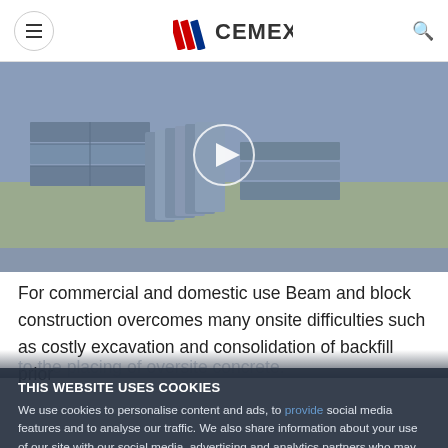CEMEX (logo with hamburger menu and search icon)
[Figure (photo): Photograph of concrete beam and block construction materials — precast concrete beams and blocks arranged on a construction site, with a circular play button overlay indicating a video player. Below the image is a blue-grey strip.]
For commercial and domestic use Beam and block construction overcomes many onsite difficulties such as costly excavation and consolidation of backfill prior to the placing of oversite concrete.
THIS WEBSITE USES COOKIES
We use cookies to personalise content and ads, to provide social media features and to analyse our traffic. We also share information about your use of our site with our social media, advertising and analytics partners who may combine it with other information that you've provided to